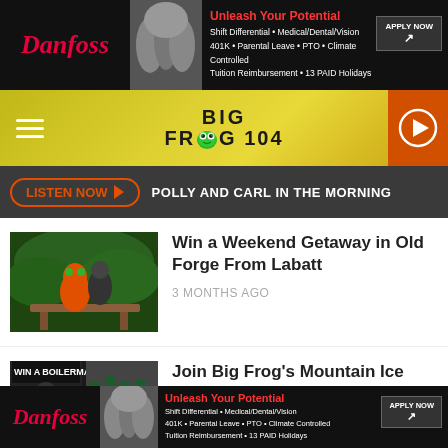[Figure (screenshot): Danfoss advertisement banner: Unleash Your Potential - Shift Differential, Medical/Dental/Vision, 401K, Parental Leave, PTO, Climate Controlled, Tuition Reimbursement, 13 PAID Holidays. Apply Now button.]
[Figure (logo): Big Frog 104 radio station logo with frog mascot, on yellow/green gradient background with hamburger menu and play button]
[Figure (screenshot): Listen Now button with orange border and POLLY AND CARL IN THE MORNING text on dark background]
[Figure (photo): Thumbnail image for Win a Weekend Getaway in Old Forge From Labatt article - frog character on bench with green foliage background]
Win a Weekend Getaway in Old Forge From Labatt
3 MONTHS AGO
[Figure (photo): Thumbnail image for boilermaker article - WIN A BOILERMAKER BIB text with running/beer imagery]
Join Big Frog's Mountain Ice Boilermaker Team
4 MONTHS AGO
[Figure (photo): Thumbnail image for Townsquare Media article - office workers]
Townsquare Media Utica Is Growing And Looking To Add To Their Goal Oriented
[Figure (screenshot): Danfoss advertisement banner at bottom: Unleash Your Potential - same details as top ad]